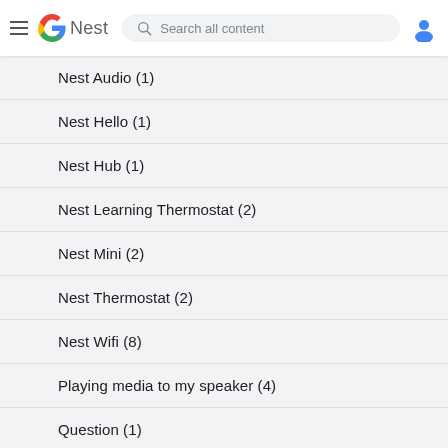Nest — Search all content
Nest Audio (1)
Nest Hello (1)
Nest Hub (1)
Nest Learning Thermostat (2)
Nest Mini (2)
Nest Thermostat (2)
Nest Wifi (8)
Playing media to my speaker (4)
Question (1)
Smart Home (3)